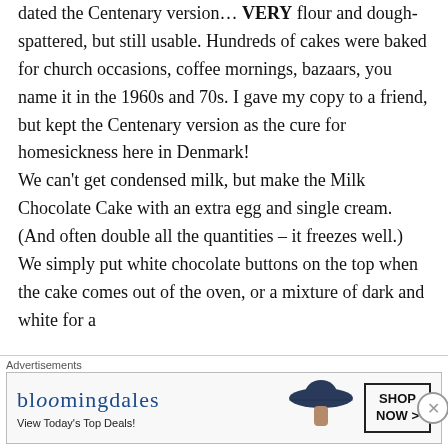dated the Centenary version… VERY flour and dough-spattered, but still usable. Hundreds of cakes were baked for church occasions, coffee mornings, bazaars, you name it in the 1960s and 70s. I gave my copy to a friend, but kept the Centenary version as the cure for homesickness here in Denmark! We can't get condensed milk, but make the Milk Chocolate Cake with an extra egg and single cream. (And often double all the quantities – it freezes well.) We simply put white chocolate buttons on the top when the cake comes out of the oven, or a mixture of dark and white for a
[Figure (other): Bloomingdale's advertisement banner with logo, 'View Today's Top Deals!' tagline, woman wearing wide-brim hat, and 'SHOP NOW >' button]